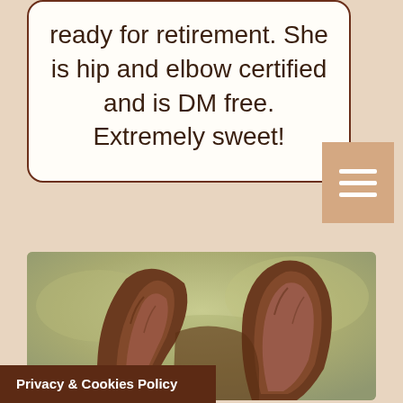ready for retirement. She is hip and elbow certified and is DM free. Extremely sweet!
[Figure (photo): Close-up photograph of a dog's ears (pointed, dark brown/brindle colored) against a blurred olive-green background]
Privacy & Cookies Policy